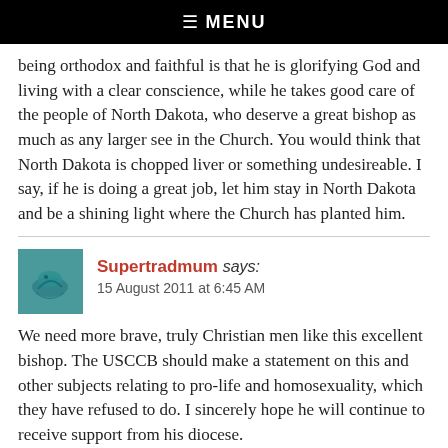☰ MENU
being orthodox and faithful is that he is glorifying God and living with a clear conscience, while he takes good care of the people of North Dakota, who deserve a great bishop as much as any larger see in the Church. You would think that North Dakota is chopped liver or something undesireable. I say, if he is doing a great job, let him stay in North Dakota and be a shining light where the Church has planted him.
Supertradmum says:
15 August 2011 at 6:45 AM
We need more brave, truly Christian men like this excellent bishop. The USCCB should make a statement on this and other subjects relating to pro-life and homosexuality, which they have refused to do. I sincerely hope he will continue to receive support from his diocese.